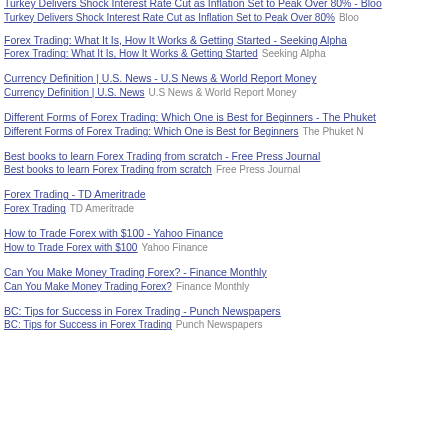Turkey Delivers Shock Interest Rate Cut as Inflation Set to Peak Over 80% - Bloomberg | Turkey Delivers Shock Interest Rate Cut as Inflation Set to Peak Over 80% Bloo
Forex Trading: What It Is, How It Works & Getting Started - Seeking Alpha | Forex Trading: What It Is, How It Works & Getting Started Seeking Alpha
Currency Definition | U.S. News - U.S News & World Report Money | Currency Definition | U.S. News U.S News & World Report Money
Different Forms of Forex Trading: Which One is Best for Beginners - The Phuket... | Different Forms of Forex Trading: Which One is Best for Beginners The Phuket N...
Best books to learn Forex Trading from scratch - Free Press Journal | Best books to learn Forex Trading from scratch Free Press Journal
Forex Trading - TD Ameritrade | Forex Trading TD Ameritrade
How to Trade Forex with $100 - Yahoo Finance | How to Trade Forex with $100 Yahoo Finance
Can You Make Money Trading Forex? - Finance Monthly | Can You Make Money Trading Forex? Finance Monthly
BC: Tips for Success in Forex Trading - Punch Newspapers | BC: Tips for Success in Forex Trading Punch Newspapers